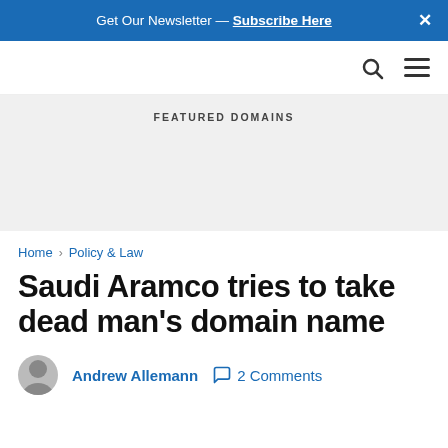Get Our Newsletter — Subscribe Here ×
FEATURED DOMAINS
Home › Policy & Law
Saudi Aramco tries to take dead man's domain name
Andrew Allemann   2 Comments